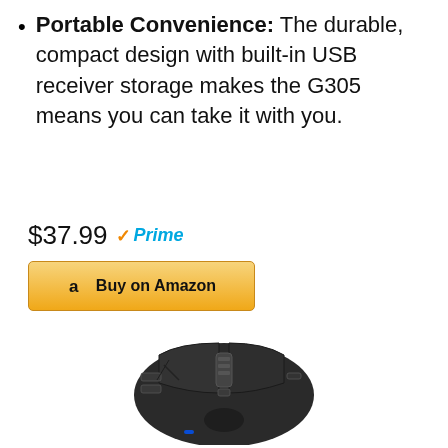Portable Convenience: The durable, compact design with built-in USB receiver storage makes the G305 means you can take it with you.
$37.99 Prime
Buy on Amazon
[Figure (photo): Top-down view of a black Logitech G502 gaming mouse showing scroll wheel, side buttons, and angular design]